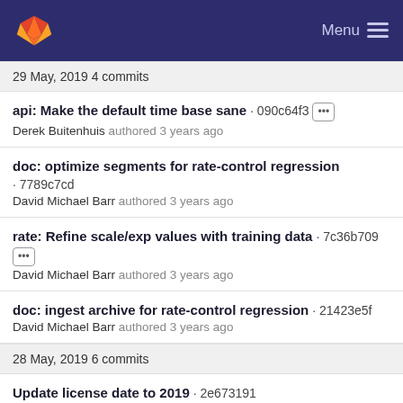GitLab — Menu
29 May, 2019 4 commits
api: Make the default time base sane · 090c64f3
Derek Buitenhuis authored 3 years ago
doc: optimize segments for rate-control regression · 7789c7cd
David Michael Barr authored 3 years ago
rate: Refine scale/exp values with training data · 7c36b709
David Michael Barr authored 3 years ago
doc: ingest archive for rate-control regression · 21423e5f
David Michael Barr authored 3 years ago
28 May, 2019 6 commits
Update license date to 2019 · 2e673191